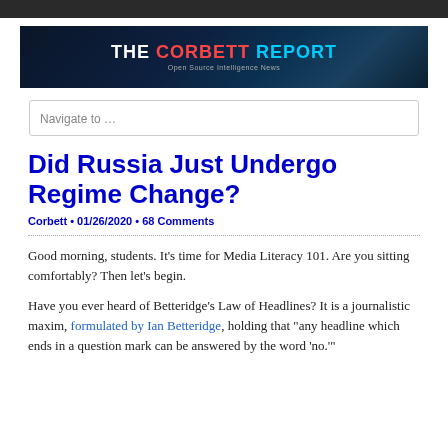[Figure (logo): The Corbett Report banner — dark space background with globe, white THE, red CORBETT, cyan REPORT, subtitle Open Source Intelligence News]
Navigate to …
Did Russia Just Undergo Regime Change?
Corbett • 01/26/2020 • 68 Comments
Good morning, students. It's time for Media Literacy 101. Are you sitting comfortably? Then let's begin.
Have you ever heard of Betteridge's Law of Headlines? It is a journalistic maxim, formulated by Ian Betteridge, holding that "any headline which ends in a question mark can be answered by the word 'no.'"